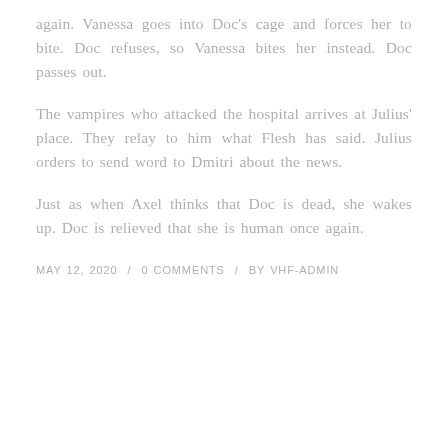again. Vanessa goes into Doc's cage and forces her to bite. Doc refuses, so Vanessa bites her instead. Doc passes out.
The vampires who attacked the hospital arrives at Julius' place. They relay to him what Flesh has said. Julius orders to send word to Dmitri about the news.
Just as when Axel thinks that Doc is dead, she wakes up. Doc is relieved that she is human once again.
MAY 12, 2020  /  0 COMMENTS  /  BY VHF-ADMIN